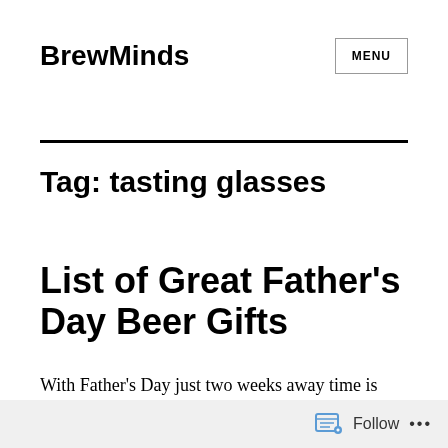BrewMinds
Tag: tasting glasses
List of Great Father's Day Beer Gifts
With Father's Day just two weeks away time is running tight to find your beer loving dad a
Follow ...